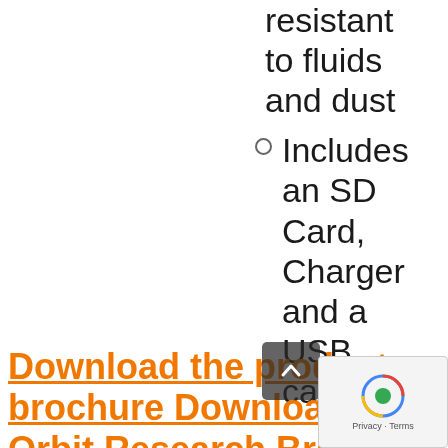resistant to fluids and dust
Includes an SD Card, Charger and a USB cable
Download the product brochure Download Orbit Research Braille Products Comparison Guide Contact us for more